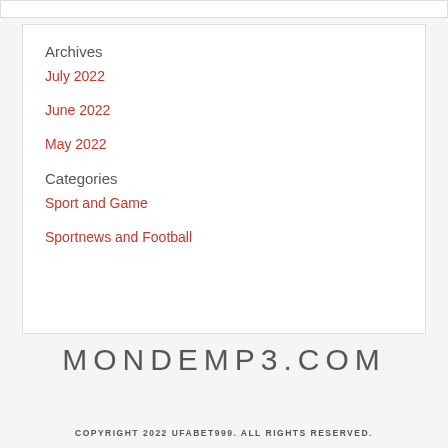Archives
July 2022
June 2022
May 2022
Categories
Sport and Game
Sportnews and Football
MONDEMP3.COM
COPYRIGHT 2022 UFABET999. ALL RIGHTS RESERVED.